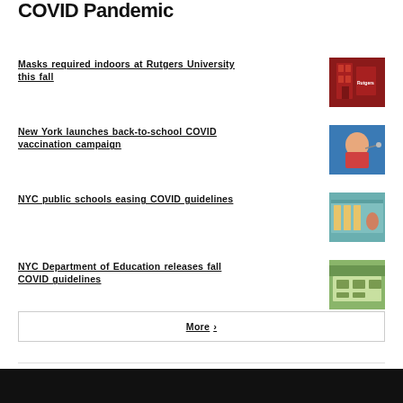COVID Pandemic
Masks required indoors at Rutgers University this fall
New York launches back-to-school COVID vaccination campaign
NYC public schools easing COVID guidelines
NYC Department of Education releases fall COVID guidelines
More ›